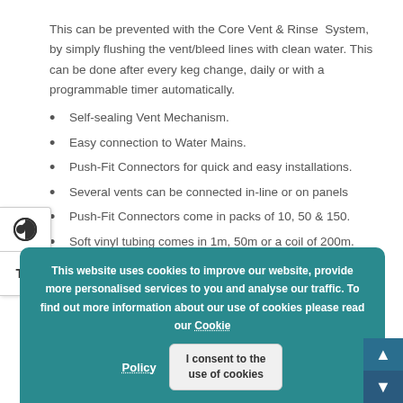This can be prevented with the Core Vent & Rinse System, by simply flushing the vent/bleed lines with clean water. This can be done after every keg change, daily or with a programmable timer automatically.
Self-sealing Vent Mechanism.
Easy connection to Water Mains.
Push-Fit Connectors for quick and easy installations.
Several vents can be connected in-line or on panels
Push-Fit Connectors come in packs of 10, 50 & 150.
Soft vinyl tubing comes in 1m, 50m or a coil of 200m.
This website uses cookies to improve our website, provide more personalised services to you and analyse our traffic. To find out more information about our use of cookies please read our Cookie Policy
I consent to the use of cookies